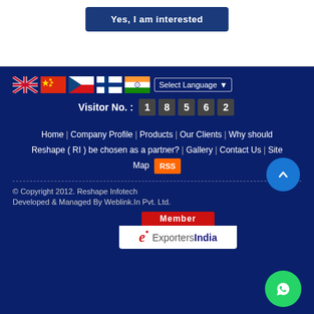Yes, I am interested
[Figure (infographic): Language selector with country flags (UK, China, Czech Republic, Finland, India) and a dropdown saying 'Select Language']
Visitor No. : 1 8 5 6 2
Home | Company Profile | Products | Our Clients | Why should Reshape ( RI ) be chosen as a partner? | Gallery | Contact Us | Site Map RSS
© Copyright 2012. Reshape Infotech
Developed & Managed By Weblink.In Pvt. Ltd.
[Figure (logo): Member ExportersIndia badge with red 'Member' header and white box showing the ExportersIndia logo]